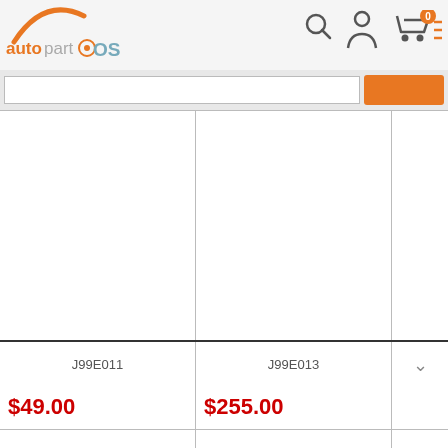topartOS — navigation header with logo, search, account, cart (0 items), and menu icons
J99E011
J99E013
PowerBox KTM JTAG for Hitachi for PCMflash KTMflash ECU Tuning Programmer
KTM BENCH Read and Write ECU Via Boot Bench ECU Tuning Programmer
$49.00
$255.00